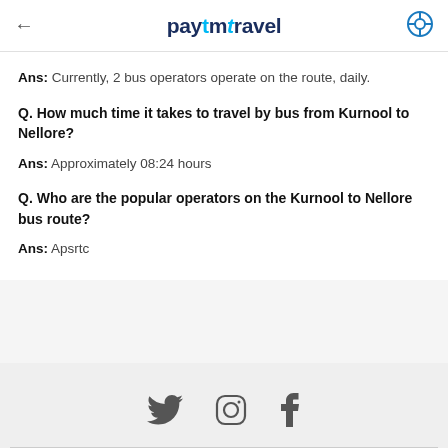paytmtravel
Ans: Currently, 2 bus operators operate on the route, daily.
Q. How much time it takes to travel by bus from Kurnool to Nellore?
Ans: Approximately 08:24 hours
Q. Who are the popular operators on the Kurnool to Nellore bus route?
Ans: Apsrtc
[Figure (other): Social media icons: Twitter, Instagram, Facebook]